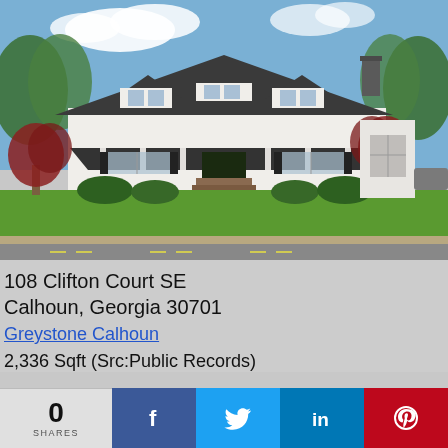[Figure (photo): Exterior photo of a white Cape Cod style house with dark gray roof, three dormer windows, covered front porch, large green lawn, ornamental trees, and a street in the foreground. Blue sky with clouds.]
108 Clifton Court SE
Calhoun, Georgia 30701
Greystone Calhoun
2,336 Sqft (Src:Public Records)
0
SHARES